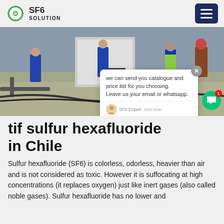SF6 SOLUTION
[Figure (photo): Workers in blue uniforms and hard hats working at an industrial site with equipment and cables on the ground]
tif sulfur hexafluoride in Chile
Sulfur hexafluoride (SF6) is colorless, odorless, heavier than air and is not considered as toxic. However it is suffocating at high concentrations (it replaces oxygen) just like inert gases (also called noble gases). Sulfur hexafluoride has no lower and